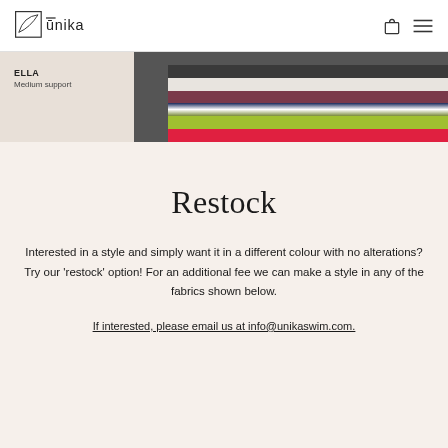Unika (logo and navigation)
[Figure (photo): Banner image showing fabric swatches in various colours including black, dark grey, white, mauve/burgundy, navy stripe, lime green, and pink/red, alongside a label reading ELLA Medium support]
Restock
Interested in a style and simply want it in a different colour with no alterations? Try our 'restock' option! For an additional fee we can make a style in any of the fabrics shown below.
If interested, please email us at info@unikaswim.com.